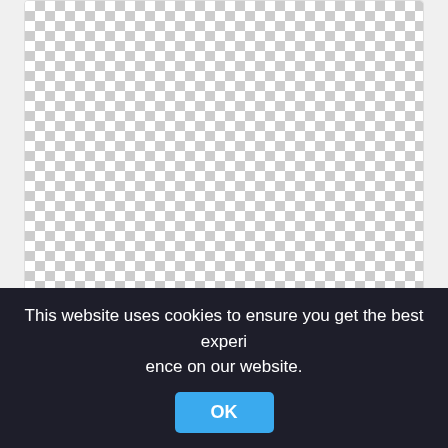[Figure (other): Checkerboard transparent background area for first image card]
halloween, halloween, creative hallowee png
1186x1992px
[Figure (other): Checkerboard transparent background area for second image card]
This website uses cookies to ensure you get the best experience on our website.